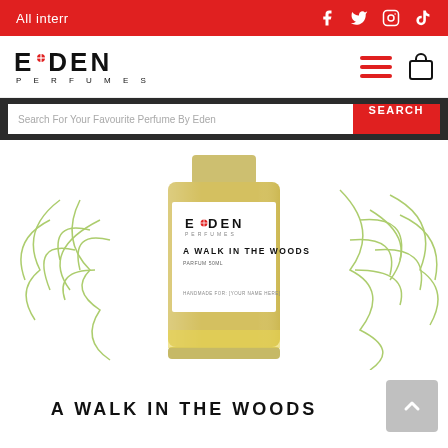All interr
[Figure (logo): Eden Perfumes logo with red maple leaf/dot accent and PERFUMES subtitle]
[Figure (screenshot): Search bar with placeholder 'Search For Your Favourite Perfume By Eden' and red SEARCH button]
[Figure (photo): Eden Perfumes product bottle - A Walk In The Woods parfum 50ml, cylindrical glass bottle with yellow liquid and white label, surrounded by green botanical illustration]
A WALK IN THE WOODS